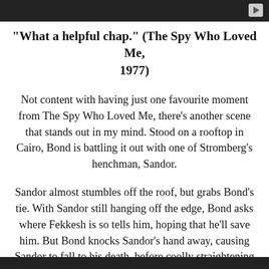"What a helpful chap." (The Spy Who Loved Me, 1977)
Not content with having just one favourite moment from The Spy Who Loved Me, there's another scene that stands out in my mind. Stood on a rooftop in Cairo, Bond is battling it out with one of Stromberg's henchman, Sandor.
Sandor almost stumbles off the roof, but grabs Bond's tie. With Sandor still hanging off the edge, Bond asks where Fekkesh is so tells him, hoping that he'll save him. But Bond knocks Sandor's hand away, causing Sandor to fall to his death, before coolly straightening his tie back in place. "What a helpful chap."